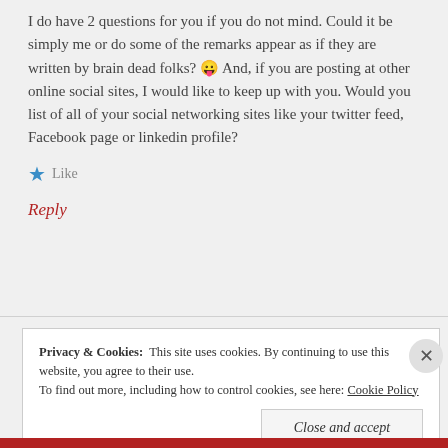I do have 2 questions for you if you do not mind. Could it be simply me or do some of the remarks appear as if they are written by brain dead folks? 😛 And, if you are posting at other online social sites, I would like to keep up with you. Would you list of all of your social networking sites like your twitter feed, Facebook page or linkedin profile?
★ Like
Reply
Privacy & Cookies:  This site uses cookies. By continuing to use this website, you agree to their use. To find out more, including how to control cookies, see here: Cookie Policy
Close and accept